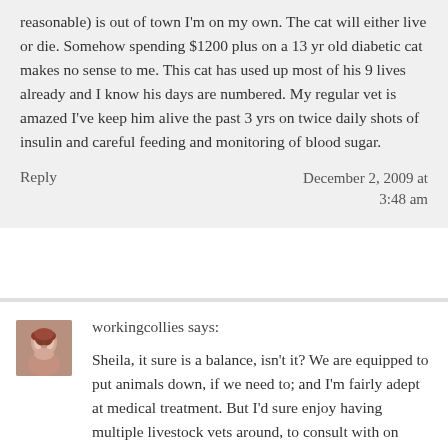reasonable) is out of town I'm on my own. The cat will either live or die. Somehow spending $1200 plus on a 13 yr old diabetic cat makes no sense to me. This cat has used up most of his 9 lives already and I know his days are numbered. My regular vet is amazed I've keep him alive the past 3 yrs on twice daily shots of insulin and careful feeding and monitoring of blood sugar.
Reply
December 2, 2009 at 3:48 am
[Figure (photo): Small avatar photo of a woman with short reddish-brown hair]
workingcollies says:
Sheila, it sure is a balance, isn't it? We are equipped to put animals down, if we need to; and I'm fairly adept at medical treatment. But I'd sure enjoy having multiple livestock vets around, to consult with on difficult cases, and